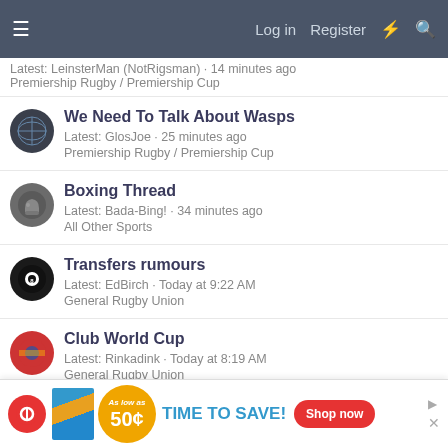Log in  Register
Latest: LeinsterMan (NotRigsman) · 14 minutes ago
Premiership Rugby / Premiership Cup
We Need To Talk About Wasps
Latest: GlosJoe · 25 minutes ago
Premiership Rugby / Premiership Cup
Boxing Thread
Latest: Bada-Bing! · 34 minutes ago
All Other Sports
Transfers rumours
Latest: EdBirch · Today at 9:22 AM
General Rugby Union
Club World Cup
Latest: Rinkadink · Today at 8:19 AM
General Rugby Union
2021-2022 transfers
Latest: Rinkadink · Today at 8:13 AM
[Figure (screenshot): Advertisement banner: 'As low as 50¢ TIME TO SAVE! Shop now']